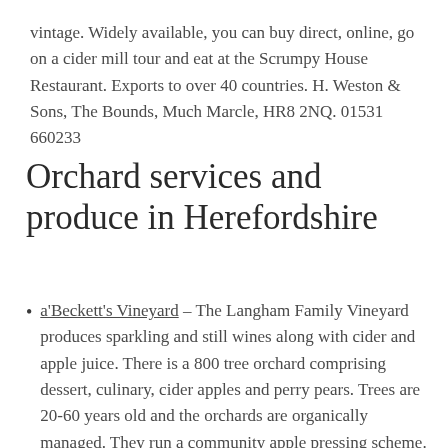vintage. Widely available, you can buy direct, online, go on a cider mill tour and eat at the Scrumpy House Restaurant. Exports to over 40 countries. H. Weston & Sons, The Bounds, Much Marcle, HR8 2NQ. 01531 660233
Orchard services and produce in Herefordshire
a'Beckett's Vineyard – The Langham Family Vineyard produces sparkling and still wines along with cider and apple juice. There is a 800 tree orchard comprising dessert, culinary, cider apples and perry pears. Trees are 20-60 years old and the orchards are organically managed. They run a community apple pressing scheme. On site shop and online shop. High Street, Littleton Panell, Devizes SN10